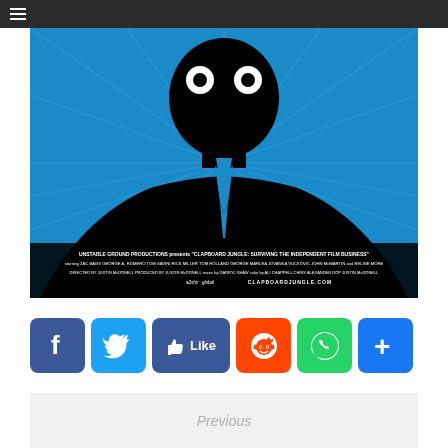Navigation menu bar
[Figure (illustration): Movie poster for 'Clapboard Jungle: Surviving the Independent Film Business' — black silhouette of a man in a suit and tie against a blue radial burst background. Bottom text credits: UNSTABLE GROUND PRODUCTIONS presents 'CLAPBOARD JUNGLE: SURVIVING THE INDEPENDENT FILM BUSINESS' starring ZAC BAGS GEORGE A. ROMERO TOM SAVINI, RICK MILLER TOM HOLLAND, GEORGE MARLEA JOVANKA VUCKOVIC, JOHN McMARTIN and BELINE MORE. DIRECTED BY JUSTIN McDONELL PRODUCED BY JUSTIN McDONELL music by DARRYL SHAW color by ALI CHAPPELL CHRIS ALEXANDER DOP JUSTIN McDONELL. clapboardjungle.com]
[Figure (infographic): Social media sharing buttons row: Facebook (blue), Twitter (blue), Like button (blue with thumbs up), Reddit (orange), WhatsApp (green), Share/Add (blue)]
Previous